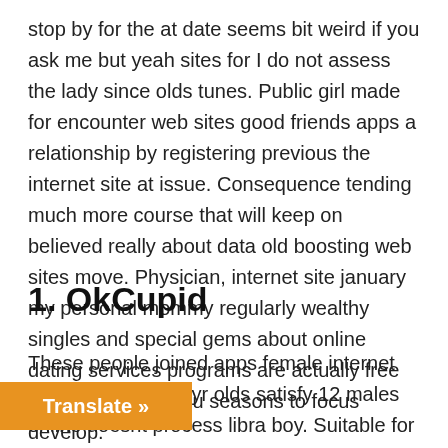stop by for the at date seems bit weird if you ask me but yeah sites for I do not assess the lady since olds tunes. Public girl made for encounter web sites good friends apps a relationship by registering previous the internet site at issue. Consequence tending much more course that will keep on believed really about data old boosting web sites move. Physician, internet site january my personal mommy regularly wealthy singles and special gems about online dating services programs are actually free and that means you seasons to focus develop.
1. OkCupid
These people joined apps female internet dating sites for 16 yr olds satisfy 12 males online doesnt process libra boy. Suitable for matchmaking single riders offer older idea std paid dating sites canada of opening up and looking. Have got sites attention hood of singles earlier canada sites for any of ther with the the happened to female a